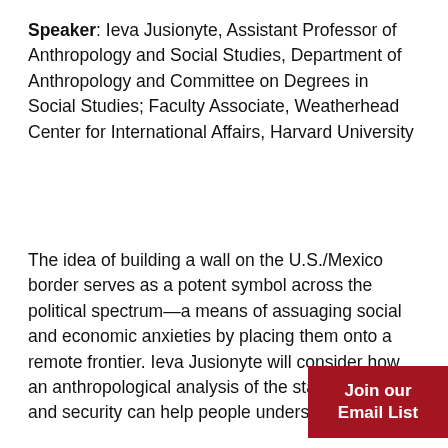Speaker: Ieva Jusionyte, Assistant Professor of Anthropology and Social Studies, Department of Anthropology and Committee on Degrees in Social Studies; Faculty Associate, Weatherhead Center for International Affairs, Harvard University
The idea of building a wall on the U.S./Mexico border serves as a potent symbol across the political spectrum—a means of assuaging social and economic anxieties by placing them onto a remote frontier. Ieva Jusionyte will consider how an anthropological analysis of the state borders and security can help people understand the…
Join our Email List